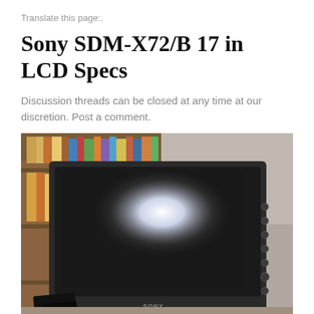Translate this page:.
Sony SDM-X72/B 17 in LCD Specs
Discussion threads can be closed at any time at our discretion. Post a comment.
[Figure (photo): Photo of a Sony SDM-X72/B 17-inch LCD monitor in dark/black bezel, shown leaning against a bookshelf filled with books. The monitor screen shows a bright white light reflection. The Sony logo is visible at the bottom center of the monitor bezel. Control buttons are visible on the right side of the bezel.]